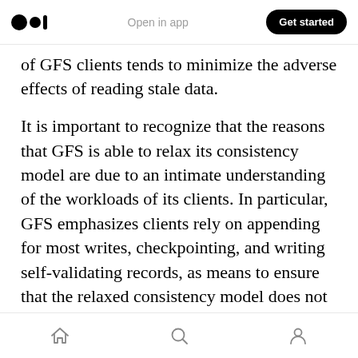Open in app | Get started
of GFS clients tends to minimize the adverse effects of reading stale data.
It is important to recognize that the reasons that GFS is able to relax its consistency model are due to an intimate understanding of the workloads of its clients. In particular, GFS emphasizes clients rely on appending for most writes, checkpointing, and writing self-validating records, as means to ensure that the relaxed consistency model does not adversely affect the client.
Home | Search | Profile